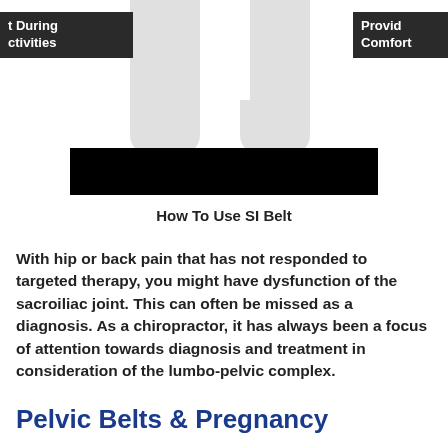[Figure (photo): Partial image showing legs/lower body wearing a pelvic/SI belt, with two dark label overlays on the left and right sides partially visible, and a black bar across the lower portion of the image.]
How To Use SI Belt
With hip or back pain that has not responded to targeted therapy, you might have dysfunction of the sacroiliac joint. This can often be missed as a diagnosis. As a chiropractor, it has always been a focus of attention towards diagnosis and treatment in consideration of the lumbo-pelvic complex.
Pelvic Belts & Pregnancy